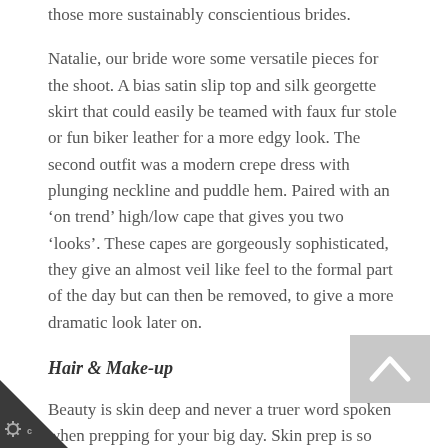those more sustainably conscientious brides.
Natalie, our bride wore some versatile pieces for the shoot. A bias satin slip top and silk georgette skirt that could easily be teamed with faux fur stole or fun biker leather for a more edgy look. The second outfit was a modern crepe dress with plunging neckline and puddle hem. Paired with an ‘on trend’ high/low cape that gives you two ‘looks’. These capes are gorgeously sophisticated, they give an almost veil like feel to the formal part of the day but can then be removed, to give a more dramatic look later on.
Hair & Make-up
Beauty is skin deep and never a truer word spoken when prepping for your big day. Skin prep is so important to help d quality products stay on for the duration, for as long as